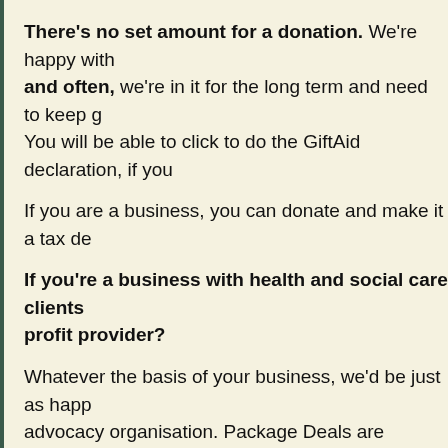There's no set amount for a donation. We're happy with and often, we're in it for the long term and need to keep g You will be able to click to do the GiftAid declaration, if you
If you are a business, you can donate and make it a tax de
If you're a business with health and social care clients profit provider?
Whatever the basis of your business, we'd be just as happ advocacy organisation. Package Deals are equally tax dec the Charity's funds.
Just email belindaschwehr@cascaidr.org.uk for a Package
If you or your staff like being sponsored to DO amazing t